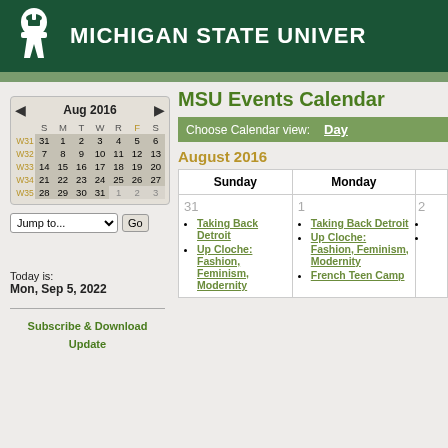Michigan State University
MSU Events Calendar
Choose Calendar view: Day
August 2016
[Figure (other): Mini monthly calendar widget showing August 2016 with week numbers W31-W35 and navigation arrows]
Jump to... Go
Today is:
Mon, Sep 5, 2022
Subscribe & Download Update
| Sunday | Monday |  |
| --- | --- | --- |
| 31 - Taking Back Detroit, Up Cloche: Fashion, Feminism, Modernity | 1 - Taking Back Detroit, Up Cloche: Fashion, Feminism, Modernity, French Teen Camp | 2 |